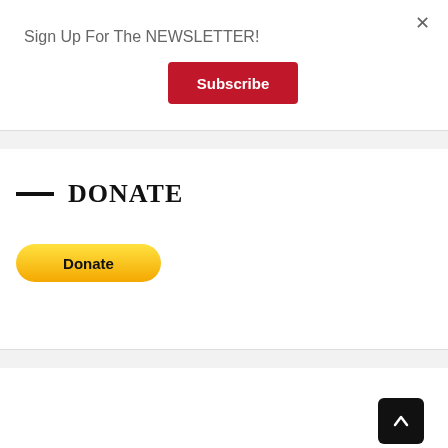×
Sign Up For The NEWSLETTER!
Subscribe
DONATE
[Figure (other): PayPal Donate button with credit card icons (Visa, Mastercard, Maestro, American Express, Discover, and one more)]
[Figure (other): Scroll to top arrow button (dark square with upward arrow)]